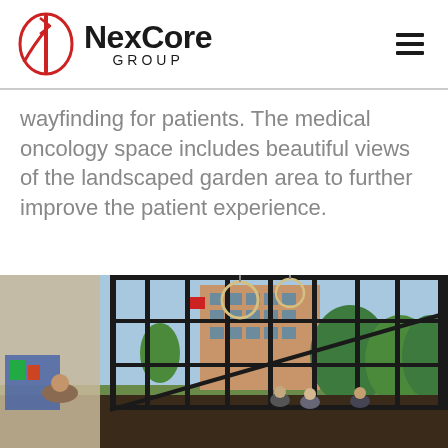NexCore GROUP
wayfinding for patients. The medical oncology space includes beautiful views of the landscaped garden area to further improve the patient experience.
[Figure (photo): Interior lobby of a medical building with floor-to-ceiling glass curtain wall windows looking out onto green trees and a hospital building. People are seated inside and a woman stands in the foreground. Colorful artwork is visible on the left wall.]